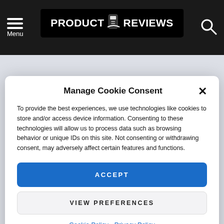PRODUCT REVIEWS — Menu
Manage Cookie Consent
To provide the best experiences, we use technologies like cookies to store and/or access device information. Consenting to these technologies will allow us to process data such as browsing behavior or unique IDs on this site. Not consenting or withdrawing consent, may adversely affect certain features and functions.
ACCEPT
VIEW PREFERENCES
Cookie Policy  Privacy Policy
Sony are planning to make the next update a lot more exciting.